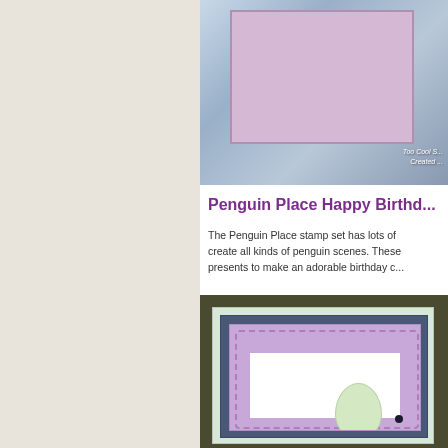[Figure (photo): Partial view of a birthday card with colorful stripes and presents, with watermark text 'Too Cool S... Created...']
Penguin Place Happy Birthd...
The Penguin Place stamp set has lots of... create all kinds of penguin scenes. These... presents to make an adorable birthday c...
[Figure (photo): Close-up of a birthday card showing lavender/purple background with stitched border design, a green balloon, and black penguin dots on white panel, set against dark olive frame with light green and navy layers]